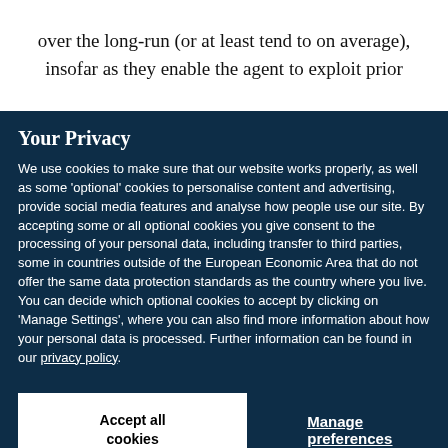over the long-run (or at least tend to on average), insofar as they enable the agent to exploit prior
Your Privacy
We use cookies to make sure that our website works properly, as well as some 'optional' cookies to personalise content and advertising, provide social media features and analyse how people use our site. By accepting some or all optional cookies you give consent to the processing of your personal data, including transfer to third parties, some in countries outside of the European Economic Area that do not offer the same data protection standards as the country where you live. You can decide which optional cookies to accept by clicking on 'Manage Settings', where you can also find more information about how your personal data is processed. Further information can be found in our privacy policy.
Accept all cookies
Manage preferences